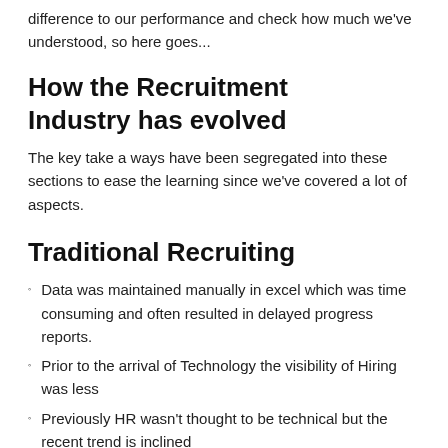difference to our performance and check how much we've understood, so here goes...
How the Recruitment Industry has evolved
The key take a ways have been segregated into these sections to ease the learning since we've covered a lot of aspects.
Traditional Recruiting
Data was maintained manually in excel which was time consuming and often resulted in delayed progress reports.
Prior to the arrival of Technology the visibility of Hiring was less
Previously HR wasn't thought to be technical but the recent trend is inclined